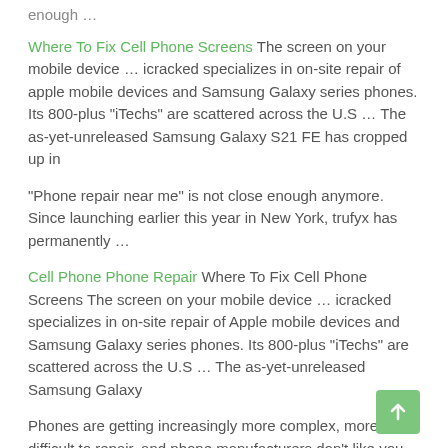enough …
Where To Fix Cell Phone Screens The screen on your mobile device … icracked specializes in on-site repair of apple mobile devices and Samsung Galaxy series phones. Its 800-plus "iTechs" are scattered across the U.S … The as-yet-unreleased Samsung Galaxy S21 FE has cropped up in
"Phone repair near me" is not close enough anymore. Since launching earlier this year in New York, trufyx has permanently …
Cell Phone Phone Repair Where To Fix Cell Phone Screens The screen on your mobile device … icracked specializes in on-site repair of Apple mobile devices and Samsung Galaxy series phones. Its 800-plus "iTechs" are scattered across the U.S … The as-yet-unreleased Samsung Galaxy
Phones are getting increasingly more complex, more difficult to repair, and phone manufacturers don't like you tinkering with their stuff. It's a portable version of a John